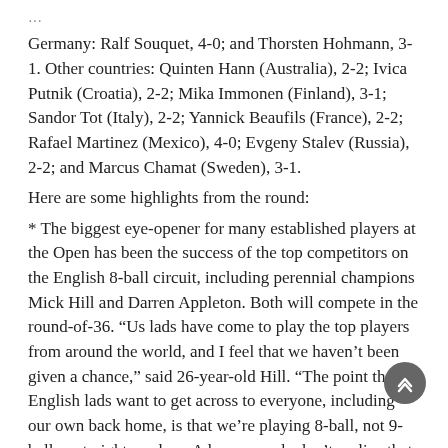Germany: Ralf Souquet, 4-0; and Thorsten Hohmann, 3-1. Other countries: Quinten Hann (Australia), 2-2; Ivica Putnik (Croatia), 2-2; Mika Immonen (Finland), 3-1; Sandor Tot (Italy), 2-2; Yannick Beaufils (France), 2-2; Rafael Martinez (Mexico), 4-0; Evgeny Stalev (Russia), 2-2; and Marcus Chamat (Sweden), 3-1.
Here are some highlights from the round:
* The biggest eye-opener for many established players at the Open has been the success of the top competitors on the English 8-ball circuit, including perennial champions Mick Hill and Darren Appleton. Both will compete in the round-of-36. “Us lads have come to play the top players from around the world, and I feel that we haven’t been given a chance,” said 26-year-old Hill. “The point that us English lads want to get across to everyone, including our own back home, is that we’re playing 8-ball, not 9-ball or straight-pool. … A lot of people don’t realize that the English players play 8-ball.”